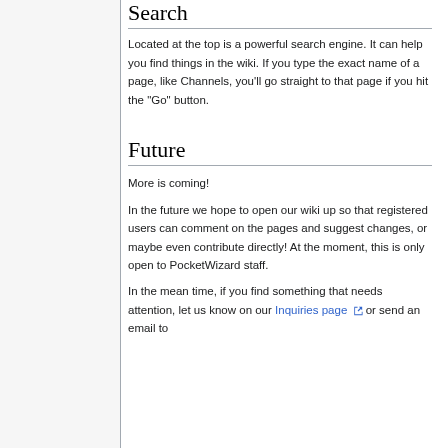Search
Located at the top is a powerful search engine. It can help you find things in the wiki. If you type the exact name of a page, like Channels, you'll go straight to that page if you hit the "Go" button.
Future
More is coming!
In the future we hope to open our wiki up so that registered users can comment on the pages and suggest changes, or maybe even contribute directly! At the moment, this is only open to PocketWizard staff.
In the mean time, if you find something that needs attention, let us know on our Inquiries page or send an email to